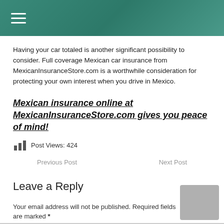Having your car totaled is another significant possibility to consider. Full coverage Mexican car insurance from MexicanInsuranceStore.com is a worthwhile consideration for protecting your own interest when you drive in Mexico.
Mexican insurance online at MexicanInsuranceStore.com gives you peace of mind!
Post Views: 424
Previous Post    Next Post
Leave a Reply
Your email address will not be published. Required fields are marked *